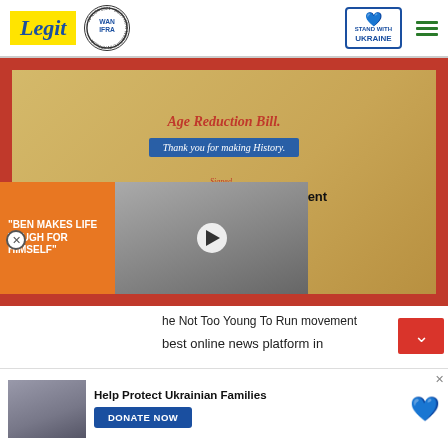Legit | WAN IFRA 2021 Best News Website in Africa | Stand With Ukraine
[Figure (photo): Framed document with red border showing 'Age Reduction Bill', 'Thank you for making History', and 'Not Too Young To Run Movement' text with a red wax seal]
he Not Too Young To Run movement
best online news platform in
[Figure (photo): Video overlay with orange promo panel reading 'BEN MAKES LIFE TOUGH FOR HIMSELF' and a thumbnail of a couple (man and woman)]
[Figure (photo): Help Protect Ukrainian Families banner with DONATE NOW button and Ukraine heart icon, showing people in distress]